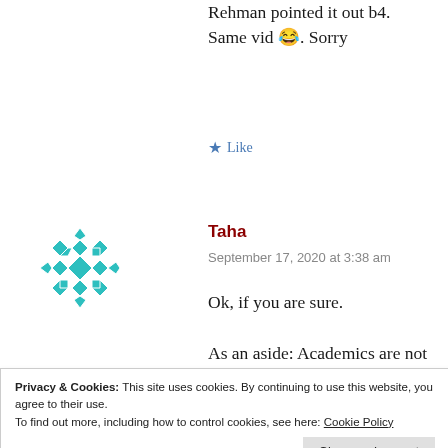Rehman pointed it out b4. Same vid 😂. Sorry
★ Like
[Figure (illustration): Teal geometric mosaic avatar icon for user Taha]
Taha
September 17, 2020 at 3:38 am
Ok, if you are sure.

As an aside: Academics are not dealing with arguments
Privacy & Cookies: This site uses cookies. By continuing to use this website, you agree to their use.
To find out more, including how to control cookies, see here: Cookie Policy
Close and accept
scripture was the best one,